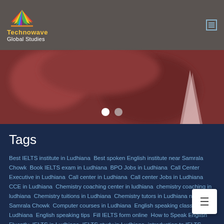[Figure (logo): Technowave Global Studies logo with colorful book icon and text]
[Figure (photo): Reddish-toned hero banner image with blurred background and a book shape in the bottom right, with two dot indicators]
Tags
Best IELTS institute in Ludhiana Best spoken English institute near Samrala Chowk Book IELTS exam in Ludhiana BPO Jobs in Ludhiana Call Center Executive in Ludhiana Call center in Ludhiana Call center Jobs in Ludhiana CCE in Ludhiana Chemistry coaching center in ludhiana chemistry coaching in ludhiana Chemistry tuitions in Ludhiana Chemistry tutors in Ludhiana near Samrala Chowk Computer courses in Ludhiana English speaking classes in Ludhiana English speaking tips Fill IELTS form online How to Speak English Fluently IELTS in Ludhiana IELTS study in Ludhiana introduction to IELTS